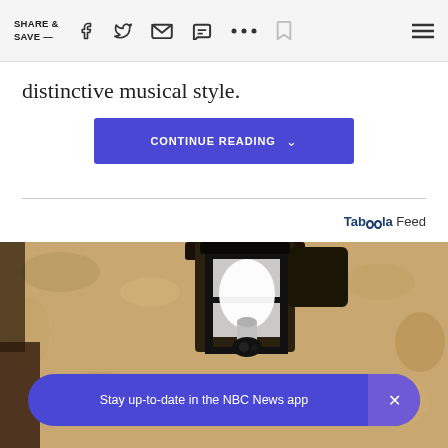SHARE & SAVE —
distinctive musical style.
CONTINUE READING ∨
Tab00la Feed
[Figure (photo): Close-up photo of an outdoor wall-mounted black metal lantern light fixture with a white bulb inside, mounted on a textured stucco/stone wall]
Stay up-to-date in the NBC News app